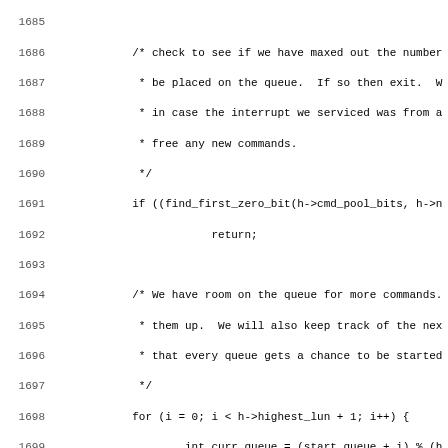[Figure (screenshot): Source code listing showing C code for a disk queue management function, lines 1685-1716+, with line numbers on the left and code on the right in monospace font.]